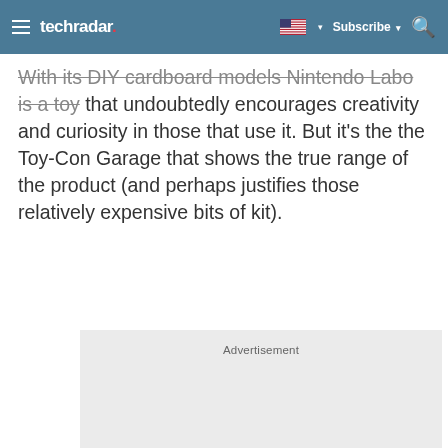techradar | Subscribe
With its DIY cardboard models Nintendo Labo is a toy that undoubtedly encourages creativity and curiosity in those that use it. But it's the the Toy-Con Garage that shows the true range of the product (and perhaps justifies those relatively expensive bits of kit).
[Figure (other): Advertisement placeholder box with grey background and label 'Advertisement']